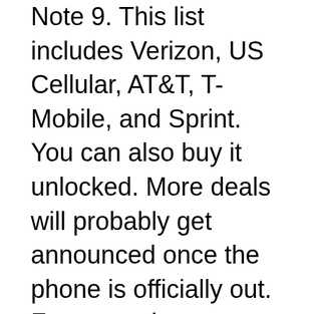Note 9. This list includes Verizon, US Cellular, AT&T, T-Mobile, and Sprint. You can also buy it unlocked. More deals will probably get announced once the phone is officially out. For example, Indonesian buyers are getting a free Samsung Smart TV.
Freebies will vary by country, but some markets will probably get the new Wireless Charger Duo as a free accessory. You can reserve the Galaxy Note 9 here.